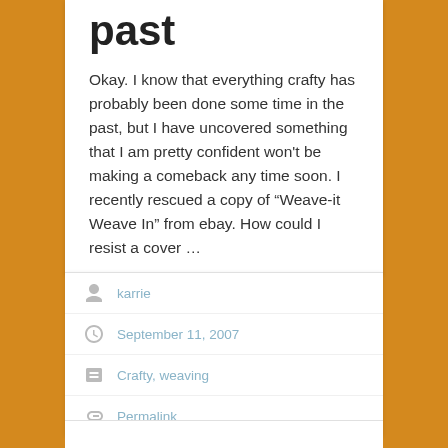past
Okay. I know that everything crafty has probably been done some time in the past, but I have uncovered something that I am pretty confident won't be making a comeback any time soon. I recently rescued a copy of “Weave-it Weave In” from ebay. How could I resist a cover …
karrie
September 11, 2007
Crafty, weaving
Permalink